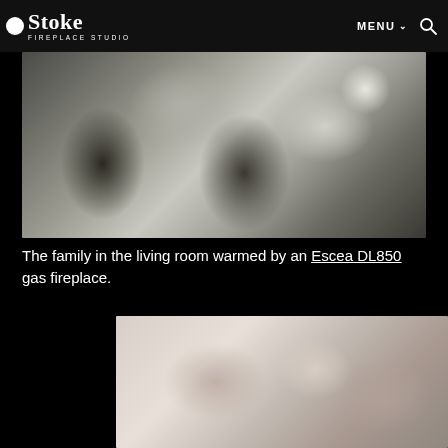Stoke Fireplace Studio — MENU
[Figure (photo): Family in a living room warmed by a fireplace, blurred photo]
The family in the living room warmed by an Escea DL850 gas fireplace.
[Figure (photo): Partial view of a interior scene with fireplace, blurred photo, bottom of page]